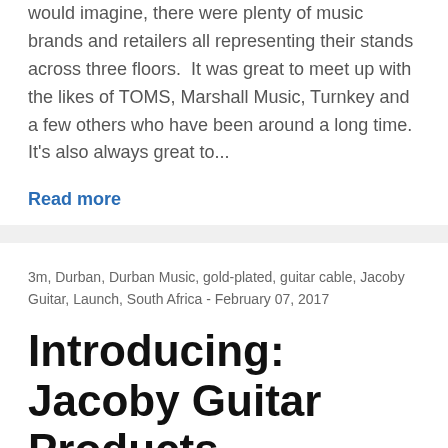would imagine, there were plenty of music brands and retailers all representing their stands across three floors.  It was great to meet up with the likes of TOMS, Marshall Music, Turnkey and a few others who have been around a long time. It's also always great to...
Read more
3m, Durban, Durban Music, gold-plated, guitar cable, Jacoby Guitar, Launch, South Africa - February 07, 2017
Introducing: Jacoby Guitar Products